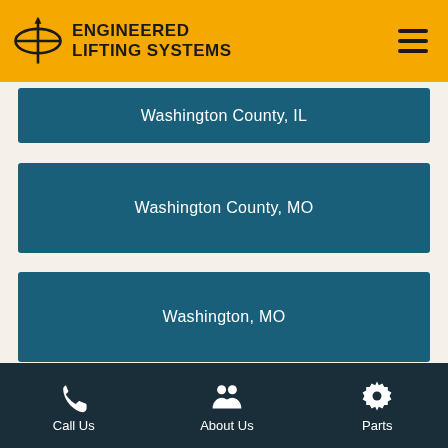ENGINEERED LIFTING SYSTEMS
Washington County, IL
Washington County, MO
Washington, MO
Waterloo, IL
Wentzville, MO
Call Us  About Us  Parts